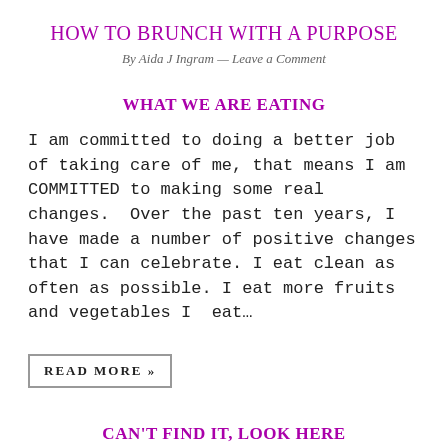HOW TO BRUNCH WITH A PURPOSE
By Aida J Ingram — Leave a Comment
WHAT WE ARE EATING
I am committed to doing a better job of taking care of me, that means I am COMMITTED to making some real changes.  Over the past ten years, I have made a number of positive changes that I can celebrate. I eat clean as often as possible. I eat more fruits and vegetables I  eat…
READ MORE »
CAN'T FIND IT, LOOK HERE